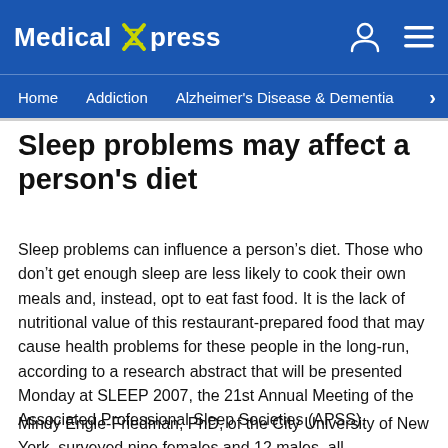Medical Xpress
Home  Addiction  Alzheimer's Disease & Dementia
Sleep problems may affect a person's diet
Sleep problems can influence a person’s diet. Those who don’t get enough sleep are less likely to cook their own meals and, instead, opt to eat fast food. It is the lack of nutritional value of this restaurant-prepared food that may cause health problems for these people in the long-run, according to a research abstract that will be presented Monday at SLEEP 2007, the 21st Annual Meeting of the Associated Professional Sleep Societies (APSS).
Mindy Engle-Friedman, PhD, of the City University of New York, surveyed nine females and 12 males, all